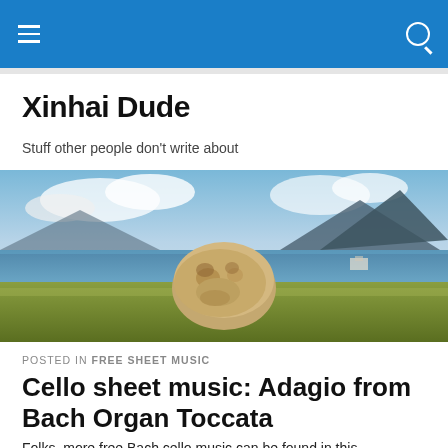Xinhai Dude — navigation bar
Xinhai Dude
Stuff other people don't write about
[Figure (photo): A large rock or boulder shaped somewhat like an animal head resting on a grassy hillside, with a bay, coastline, and mountain in the background under a partly cloudy sky.]
POSTED IN FREE SHEET MUSIC
Cello sheet music: Adagio from Bach Organ Toccata
Folks, more free Bach cello music can be found in this